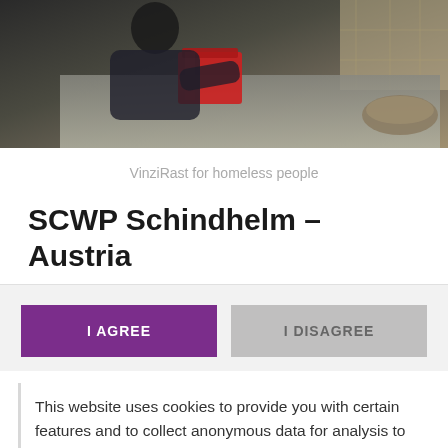[Figure (photo): Photo of a person in a kitchen setting, cooking or serving food, with stainless steel surfaces and a red cooler visible. Appears to be a social services kitchen environment.]
VinziRast for homeless people
SCWP Schindhelm – Austria
I AGREE
I DISAGREE
This website uses cookies to provide you with certain features and to collect anonymous data for analysis to help us continually improve our website and make it more user-friendly. Third party cookies are also used for this